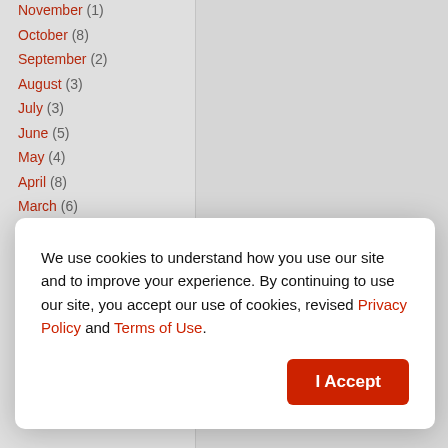November (1)
October (8)
September (2)
August (3)
July (3)
June (5)
May (4)
April (8)
March (6)
February (3)
2019
December (2)
November (6)
October (2)
We use cookies to understand how you use our site and to improve your experience. By continuing to use our site, you accept our use of cookies, revised Privacy Policy and Terms of Use.